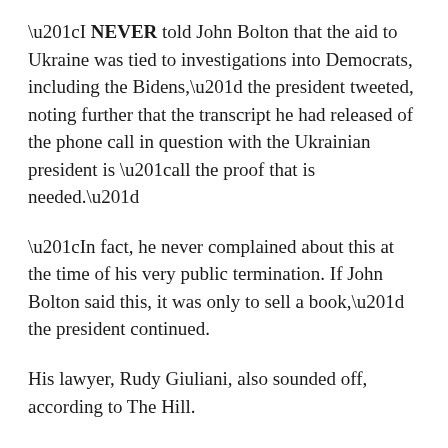“I NEVER told John Bolton that the aid to Ukraine was tied to investigations into Democrats, including the Bidens,” the president tweeted, noting further that the transcript he had released of the phone call in question with the Ukrainian president is “all the proof that is needed.”
“In fact, he never complained about this at the time of his very public termination. If John Bolton said this, it was only to sell a book,” the president continued.
His lawyer, Rudy Giuliani, also sounded off, according to The Hill.